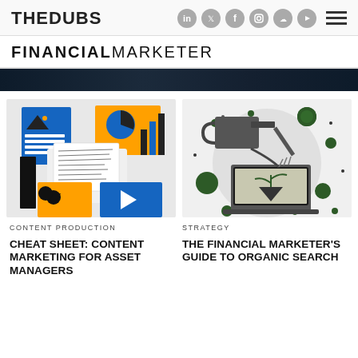THEDUBS — social icons and menu
FINANCIAL MARKETER
[Figure (illustration): Illustrated graphic showing colorful icons (blue image card, orange pie chart / bar chart graphic, hand holding a handwritten note card, orange heart card, blue play button card) representing content production]
CONTENT PRODUCTION
CHEAT SHEET: CONTENT MARKETING FOR ASSET MANAGERS
[Figure (illustration): Illustration of a watering can pouring water onto a laptop screen showing a plant growing, surrounded by green circle dots on a light grey background]
STRATEGY
THE FINANCIAL MARKETER'S GUIDE TO ORGANIC SEARCH